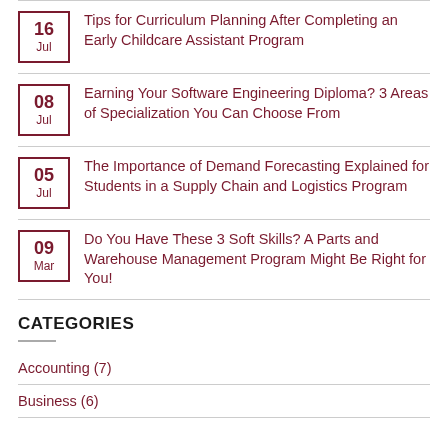16 Jul – Tips for Curriculum Planning After Completing an Early Childcare Assistant Program
08 Jul – Earning Your Software Engineering Diploma? 3 Areas of Specialization You Can Choose From
05 Jul – The Importance of Demand Forecasting Explained for Students in a Supply Chain and Logistics Program
09 Mar – Do You Have These 3 Soft Skills? A Parts and Warehouse Management Program Might Be Right for You!
CATEGORIES
Accounting (7)
Business (6)